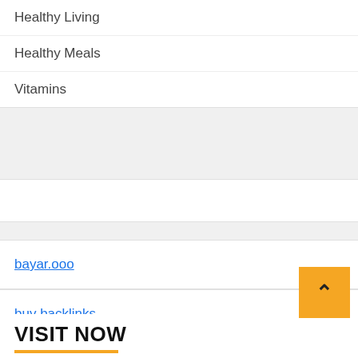Healthy Living
Healthy Meals
Vitamins
bayar.ooo
buy backlinks
VISIT NOW